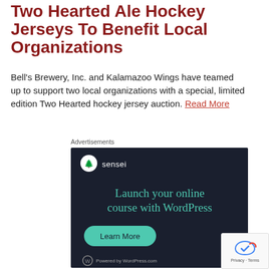Two Hearted Ale Hockey Jerseys To Benefit Local Organizations
Bell's Brewery, Inc. and Kalamazoo Wings have teamed up to support two local organizations with a special, limited edition Two Hearted hockey jersey auction. Read More
Advertisements
[Figure (other): Sensei advertisement: dark navy background with Sensei logo (white circle with tree icon), headline 'Launch your online course with WordPress' in teal text, green 'Learn More' button, and 'Powered by WordPress.com' footer.]